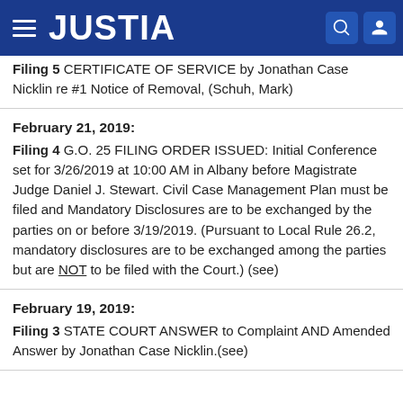JUSTIA
Filing 5  CERTIFICATE OF SERVICE by Jonathan Case Nicklin re #1 Notice of Removal, (Schuh, Mark)
February 21, 2019:
Filing 4  G.O. 25 FILING ORDER ISSUED: Initial Conference set for 3/26/2019 at 10:00 AM in Albany before Magistrate Judge Daniel J. Stewart. Civil Case Management Plan must be filed and Mandatory Disclosures are to be exchanged by the parties on or before 3/19/2019. (Pursuant to Local Rule 26.2, mandatory disclosures are to be exchanged among the parties but are NOT to be filed with the Court.) (see)
February 19, 2019:
Filing 3  STATE COURT ANSWER to Complaint AND Amended Answer by Jonathan Case Nicklin.(see)